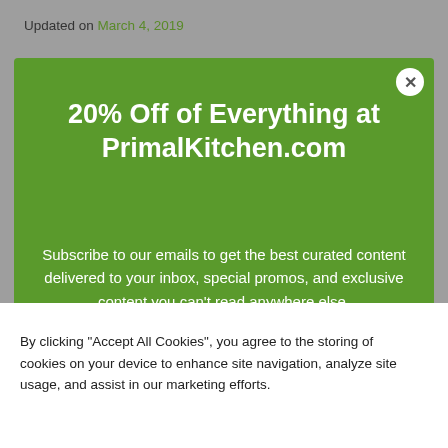Updated on March 4, 2019
20% Off of Everything at PrimalKitchen.com
Subscribe to our emails to get the best curated content delivered to your inbox, special promos, and exclusive content you can't read anywhere else.
Enter your email address
SUBSCRIBE
By clicking "Accept All Cookies", you agree to the storing of cookies on your device to enhance site navigation, analyze site usage, and assist in our marketing efforts.